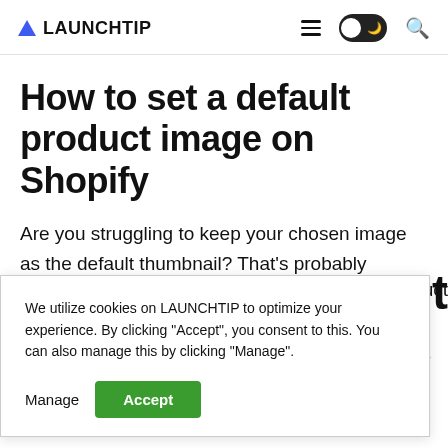LAUNCHTIP — navigation bar with logo, hamburger menu, dark mode toggle, search icon
How to set a default product image on Shopify
Are you struggling to keep your chosen image as the default thumbnail? That's probably because
We utilize cookies on LAUNCHTIP to optimize your experience. By clicking "Accept", you consent to this. You can also manage this by clicking "Manage".
Manage   Accept
fault product
king to the
It